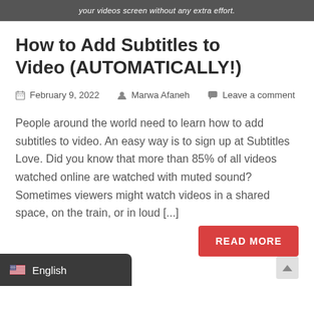your videos screen without any extra effort.
How to Add Subtitles to Video (AUTOMATICALLY!)
February 9, 2022   Marwa Afaneh   Leave a comment
People around the world need to learn how to add subtitles to video. An easy way is to sign up at Subtitles Love. Did you know that more than 85% of all videos watched online are watched with muted sound? Sometimes viewers might watch videos in a shared space, on the train, or in loud [...]
READ MORE
English